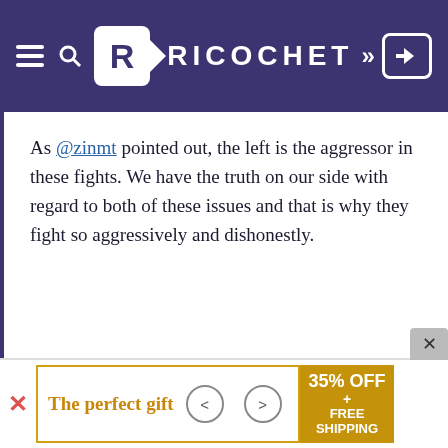RICOCHET
As @zinmt pointed out, the left is the aggressor in these fights. We have the truth on our side with regard to both of these issues and that is why they fight so aggressively and dishonestly.
The perfect gift